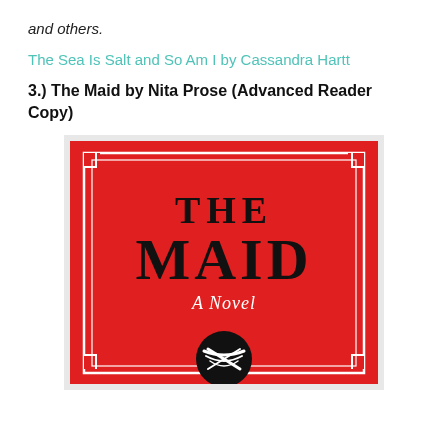and others.
The Sea Is Salt and So Am I by Cassandra Hartt
3.) The Maid by Nita Prose (Advanced Reader Copy)
[Figure (illustration): Book cover of 'The Maid' by Nita Prose. Red background with ornate white border frame. Large black text reads 'THE MAID'. Below that, italic script reads 'A Novel'. At the bottom, a circular black and white emblem resembling a maid's cap.]